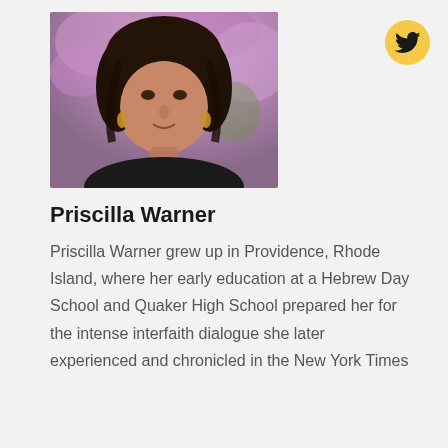[Figure (photo): Portrait photo of Priscilla Warner, a woman with dark hair, wearing dark clothing and gold earrings, with purple flowers/trees in the background.]
[Figure (logo): Twitter bird icon in a yellow/gold circular button]
Priscilla Warner
Priscilla Warner grew up in Providence, Rhode Island, where her early education at a Hebrew Day School and Quaker High School prepared her for the intense interfaith dialogue she later experienced and chronicled in the New York Times